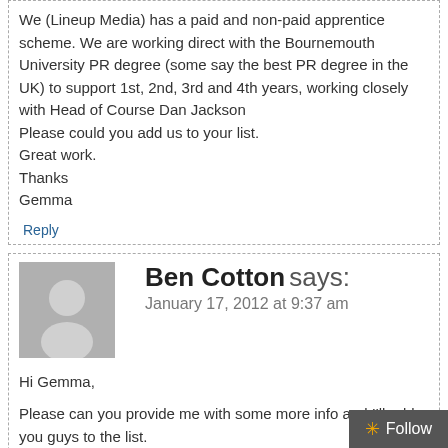We (Lineup Media) has a paid and non-paid apprentice scheme. We are working direct with the Bournemouth University PR degree (some say the best PR degree in the UK) to support 1st, 2nd, 3rd and 4th years, working closely with Head of Course Dan Jackson
Please could you add us to your list.
Great work.
Thanks
Gemma
Reply
Ben Cotton says:
January 17, 2012 at 9:37 am
Hi Gemma,

Please can you provide me with some more info and I'll add you guys to the list.

Thanks,

Ben
Reply